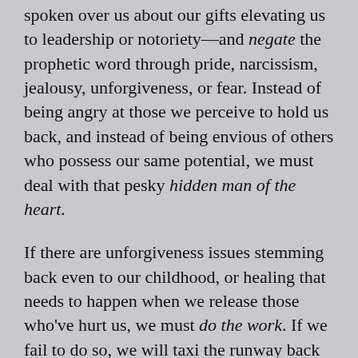spoken over us about our gifts elevating us to leadership or notoriety—and negate the prophetic word through pride, narcissism, jealousy, unforgiveness, or fear. Instead of being angry at those we perceive to hold us back, and instead of being envious of others who possess our same potential, we must deal with that pesky hidden man of the heart.
If there are unforgiveness issues stemming back even to our childhood, or healing that needs to happen when we release those who've hurt us, we must do the work. If we fail to do so, we will taxi the runway back and forth but never gain the momentum to get off the ground. Still more tragic: we risk imprinting our character flaws on our children by forcefully living vicariously through them, by repeating abuses on them that we experienced, or by failing to desire success for them